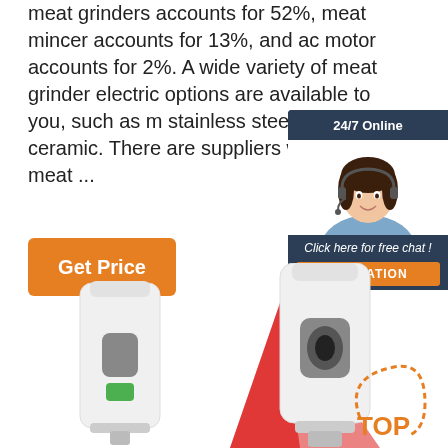meat grinders accounts for 52%, meat mincer accounts for 13%, and ac motor accounts for 2%. A wide variety of meat grinder electric options are available to you, such as material, stainless steel, and ceramic. There are suppliers who sells meat ...
[Figure (other): Orange 'Get Price' button]
[Figure (other): 24/7 Online live chat widget with customer service agent photo, 'Click here for free chat!' text, and orange QUOTATION button]
[Figure (photo): White automatic hand sanitizer dispenser with green display screen]
[Figure (photo): White automatic temperature scanner with red laser beam and TOP badge logo]